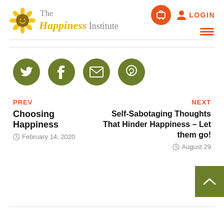[Figure (logo): The Happiness Institute logo with sunflower graphic and text]
[Figure (infographic): Social share buttons: Twitter, Facebook, Email, Pinterest (green circles)]
PREV
Choosing Happiness
February 14, 2020
NEXT
Self-Sabotaging Thoughts That Hinder Happiness – Let them go!
August 29